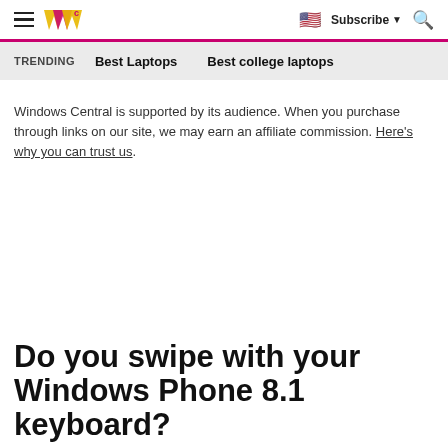Windows Central — Subscribe — Search
TRENDING  Best Laptops  Best college laptops
Windows Central is supported by its audience. When you purchase through links on our site, we may earn an affiliate commission. Here's why you can trust us.
Do you swipe with your Windows Phone 8.1 keyboard?